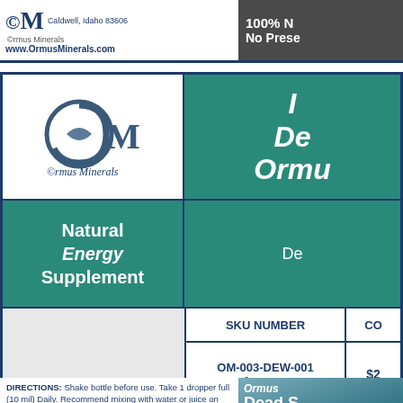[Figure (logo): OM Ormus Minerals logo with OM text and website www.OrmusMinerals.com, Caldwell Idaho 83606]
100% N
No Prese
[Figure (logo): Ormus Minerals OM circular logo graphic]
Ormus Minerals
I
De
Ormu
Natural Energy Supplement
De
| SKU NUMBER | CO |
| --- | --- |
| OM-003-DEW-001
1 ounce | $2 |
DIRECTIONS: Shake bottle before use. Take 1 dropper full (10 mil) Daily. Recommend mixing with water or juice on an empty stomach as an Energy Supplement.
PRECAUTIONS:
Keep away from children.
Avoid contact with eyes.
Consult with your Health Consultant for your recommended use of this Nutritional Supplement.
Manufactured for & Distributed by
[Figure (logo): Ormus Minerals Inc logo at bottom]
[Figure (photo): Ormus Minerals Dead Sea Ormus D product bottle image with scenic background]
Ormus
Dead S
Ormus M
D
1 o